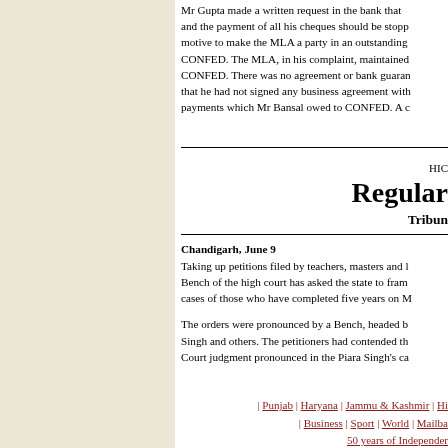Mr Gupta made a written request in the bank that and the payment of all his cheques should be stopped. motive to make the MLA a party in an outstanding CONFED. The MLA, in his complaint, maintained CONFED. There was no agreement or bank guarantee that he had not signed any business agreement with payments which Mr Bansal owed to CONFED. A c
HIC
Regular
Tribune
Chandigarh, June 9
Taking up petitions filed by teachers, masters and lecturers, a Bench of the high court has asked the state to frame a policy for cases of those who have completed five years on Mrit.
The orders were pronounced by a Bench, headed by Justice Singh and others. The petitioners had contended that a Supreme Court judgment pronounced in the Piara Singh's case...
| Punjab | Haryana | Jammu & Kashmir | Hi... | Business | Sport | World | Mailba... 50 years of Independer... | 123 Years of Trust | Calendar | Weat...